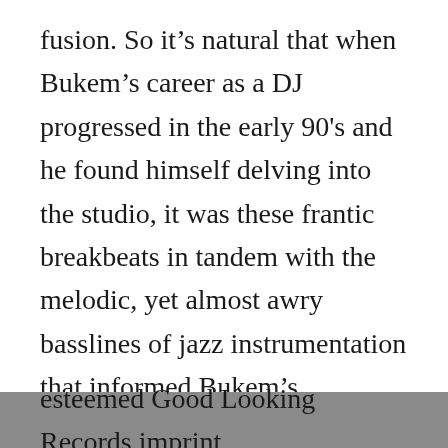fusion. So it's natural that when Bukem's career as a DJ progressed in the early 90's and he found himself delving into the studio, it was these frantic breakbeats in tandem with the melodic, yet almost awry basslines of jazz instrumentation that informed Bukem's creations, developing a progressive and textured sound equal parts anthemic and tranquil.
The album was entitled Logical Progression and marked Bukem as an innovator, a tag that has stuck through his work on his own esteemed Good Looking Records imprint,